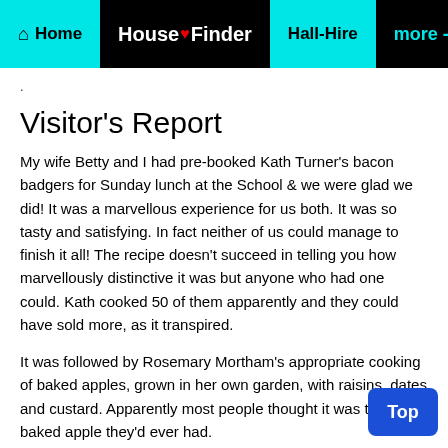Home | HouseFinder | Hall-Hire | more -
.
Visitor's Report
My wife Betty and I had pre-booked Kath Turner's bacon badgers for Sunday lunch at the School & we were glad we did! It was a marvellous experience for us both. It was so tasty and satisfying. In fact neither of us could manage to finish it all! The recipe doesn't succeed in telling you how marvellously distinctive it was but anyone who had one could. Kath cooked 50 of them apparently and they could have sold more, as it transpired.
It was followed by Rosemary Mortham's appropriate cooking of baked apples, grown in her own garden, with raisins, dates and custard. Apparently most people thought it was the best baked apple they'd ever had.
I learnt that people who hadn't pre-booked before the day had